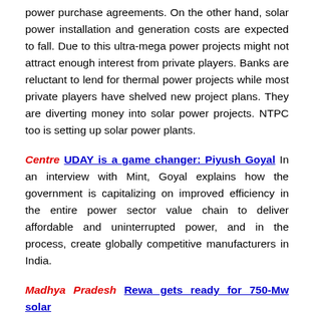power purchase agreements. On the other hand, solar power installation and generation costs are expected to fall. Due to this ultra-mega power projects might not attract enough interest from private players. Banks are reluctant to lend for thermal power projects while most private players have shelved new project plans. They are diverting money into solar power projects. NTPC too is setting up solar power plants.
Centre UDAY is a game changer: Piyush Goyal In an interview with Mint, Goyal explains how the government is capitalizing on improved efficiency in the entire power sector value chain to deliver affordable and uninterrupted power, and in the process, create globally competitive manufacturers in India.
Madhya Pradesh Rewa gets ready for 750-Mw solar